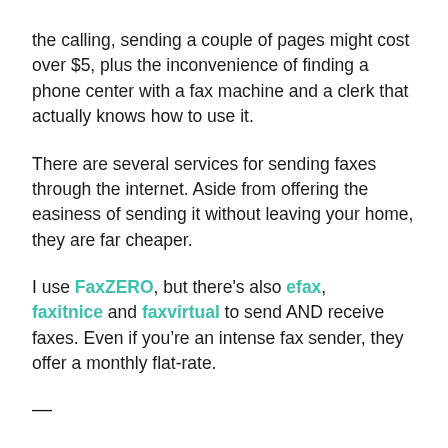the calling, sending a couple of pages might cost over $5, plus the inconvenience of finding a phone center with a fax machine and a clerk that actually knows how to use it.
There are several services for sending faxes through the internet. Aside from offering the easiness of sending it without leaving your home, they are far cheaper.
I use FaxZERO, but there's also efax, faxitnice and faxvirtual to send AND receive faxes. Even if you’re an intense fax sender, they offer a monthly flat-rate.
—